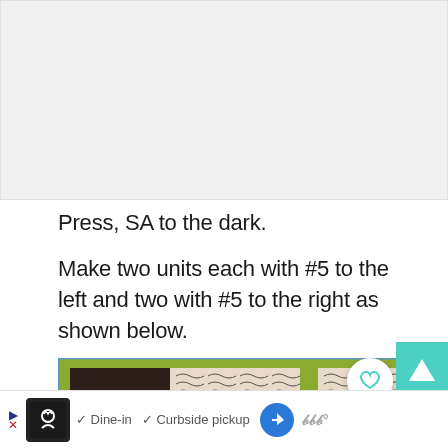[Figure (photo): Top gray/white placeholder image area for a quilting tutorial]
Press, SA to the dark.
Make two units each with #5 to the left and two with #5 to the right as shown below.
[Figure (photo): Photo of quilt fabric pieces on a green cutting mat showing dark brown fabric blocks alternating with patterned cream/black fabric, demonstrating quilting units with #5 pieces to left and right]
Dine-in   Curbside pickup